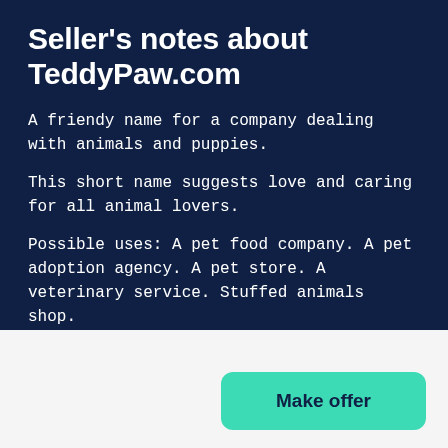Seller's notes about TeddyPaw.com
A friendy name for a company dealing with animals and puppies.
This short name suggests love and caring for all animal lovers.
Possible uses: A pet food company. A pet adoption agency. A pet store. A veterinary service. Stuffed animals shop.